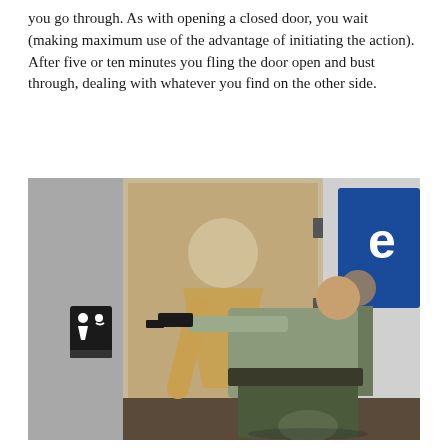you go through. As with opening a closed door, you wait (making maximum use of the advantage of initiating the action). After five or ten minutes you fling the door open and bust through, dealing with whatever you find on the other side.
[Figure (photo): A person in tactical/military-style clothing crouching and pointing a handgun toward an open restroom door. The door has a women's restroom sign on it with a stylized female figure in gold on a tan/wood-colored door. There is a standard ADA women restroom placard on the wall to the left. In the background, another person stands in a hallway with blue signage visible.]